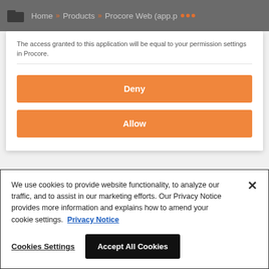Home » Products » Procore Web (app.p ...
The access granted to this application will be equal to your permission settings in Procore.
Deny
Allow
We use cookies to provide website functionality, to analyze our traffic, and to assist in our marketing efforts. Our Privacy Notice provides more information and explains how to amend your cookie settings. Privacy Notice
Cookies Settings
Accept All Cookies